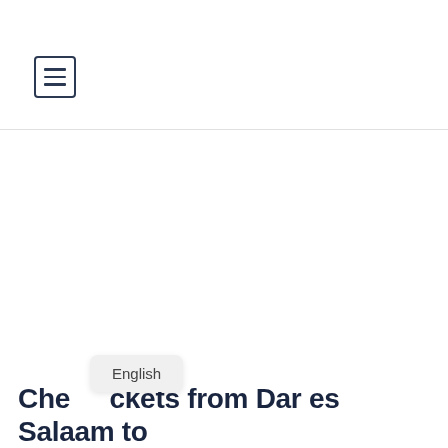[Figure (other): Hamburger/menu icon — three horizontal lines inside a square border]
English
Cheap tickets from Dar es Salaam to